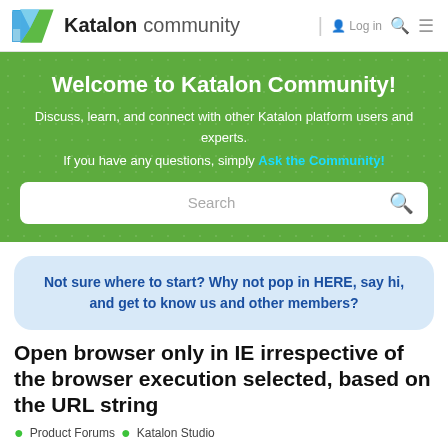Katalon community
Welcome to Katalon Community!
Discuss, learn, and connect with other Katalon platform users and experts.
If you have any questions, simply Ask the Community!
Not sure where to start? Why not pop in HERE, say hi, and get to know us and other members?
Open browser only in IE irrespective of the browser execution selected, based on the URL string
Product Forums • Katalon Studio